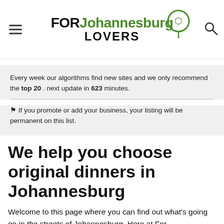FOR Johannesburg LOVERS
Every week our algorithms find new sites and we only recommend the top 20 . next update in 623 minutes.
⚑ If you promote or add your business, your listing will be permanent on this list.
We help you choose original dinners in Johannesburg
Welcome to this page where you can find out what's going on in the streets of Johannesburg. Here at For Johannesburg Lovers we help you know where to go, when to go, and what's hot in the bowels of the capital! We'll show you all the tips you need, even down to original...